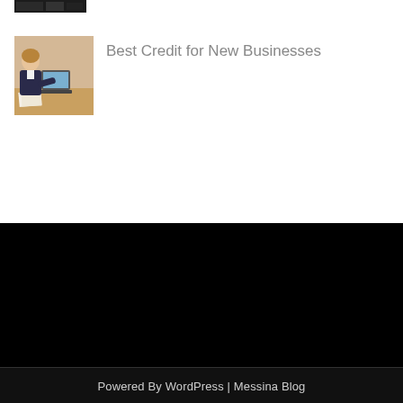[Figure (photo): Small dark thumbnail image at top, partially visible, appears to be a building or office scene]
[Figure (photo): Photo of a woman in business attire working at a desk with a laptop and papers]
Best Credit for New Businesses
Powered By WordPress | Messina Blog